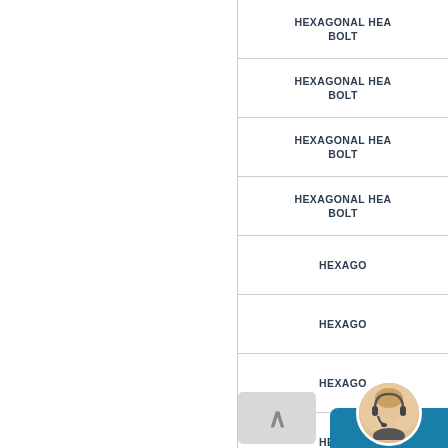| HEXAGONAL HEAD BOLT |
| HEXAGONAL HEAD BOLT |
| HEXAGONAL HEAD BOLT |
| HEXAGONAL HEAD BOLT |
| HEXAGO... |
| HEXAGO... |
| HEXAGO... |
| HEXAGO... |
| HEXAGO... |
| HEXAGONAL HEAD BOLT |
[Figure (illustration): Customer service popup widget with female avatar wearing headset, teal/blue background, Russian text 'СДЕЛАТЬ ЗАКАЗ' (Make an order) written vertically]
[Figure (illustration): Scroll-to-top button with upward chevron arrow, gray background]